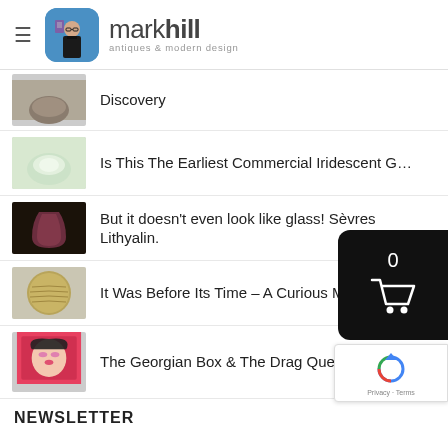[Figure (logo): Mark Hill antiques & modern design logo with avatar icon]
Discovery
Is This The Earliest Commercial Iridescent G…
But it doesn't even look like glass! Sèvres Lithyalin.
It Was Before Its Time – A Curious Modern Vase
The Georgian Box & The Drag Queen
NEWSLETTER